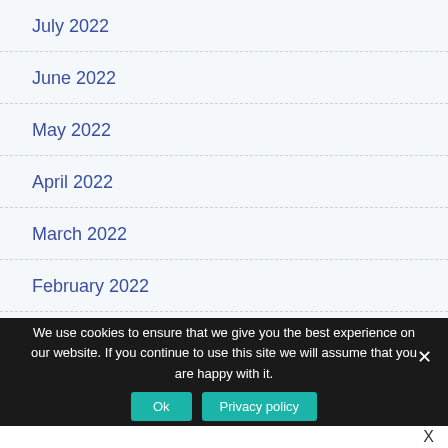July 2022
June 2022
May 2022
April 2022
March 2022
February 2022
January 2022
We use cookies to ensure that we give you the best experience on our website. If you continue to use this site we will assume that you are happy with it.